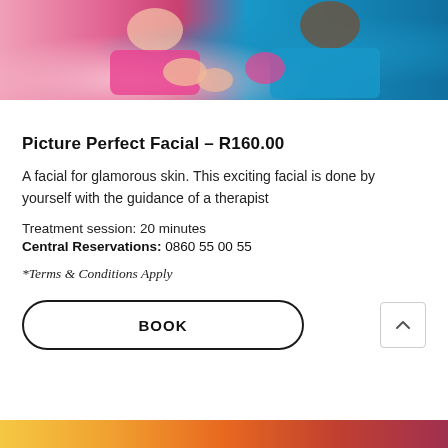[Figure (photo): Photo of a child and therapist during a facial treatment session, with colorful clothing - pink and teal/blue.]
Picture Perfect Facial – R160.00
A facial for glamorous skin. This exciting facial is done by yourself with the guidance of a therapist
Treatment session: 20 minutes
Central Reservations: 0860 55 00 55
*Terms & Conditions Apply
[Figure (other): BOOK button with rounded border outline]
[Figure (photo): Partial bottom photo strip with warm orange and red tones]